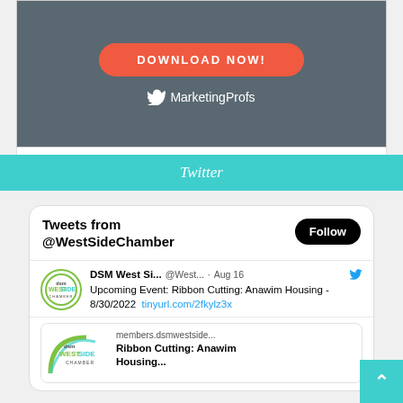[Figure (screenshot): MarketingProfs ad with dark gray background, orange DOWNLOAD NOW! button, and MarketingProfs logo with bird icon in white]
Twitter
[Figure (screenshot): Twitter widget showing tweets from @WestSideChamber with a Follow button, a tweet from DSM West Si... @West... Aug 16 about Upcoming Event: Ribbon Cutting: Anawim Housing - 8/30/2022 tinyurl.com/2fkylz3x, and a preview card showing members.dsmwestside... Ribbon Cutting: Anawim Housing...]
[Figure (logo): Back to top teal button with up arrow]